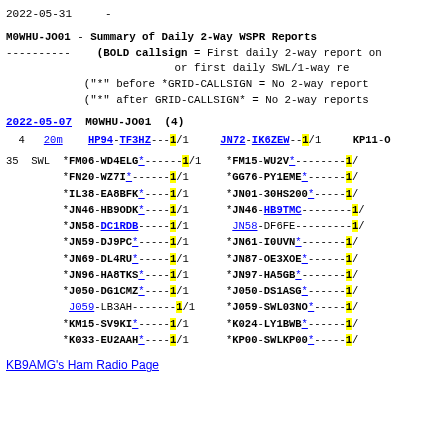2022-05-31    -
M0WHU-JO01 - Summary of Daily 2-Way WSPR Reports
---------- (BOLD callsign = First daily 2-way report on...
                            or first daily SWL/1-way re...
            ("*" before *GRID-CALLSIGN = No 2-way report...
            ("*" after GRID-CALLSIGN* = No 2-way reports...
2022-05-07  M0WHU-JO01  (4)
4   20m   HP94-TF3HZ---1/1   JN72-IK6ZEW--1/1   KP11-O...
35  SWL  *FM06-WD4ELG*------1/1  *FM15-WU2V*--------1/...
*FN20-WZ7I*------1/1  *GG76-PY1EME*------1/...
*IL38-EA8BFK*----1/1  *JN01-30HS200*-----1/...
*JN46-HB9ODK*----1/1  *JN46-HB9TMC-------1/...
*JN58-DC1RDB-----1/1   JN58-DF6FE--------1/...
*JN59-DJ9PC*-----1/1  *JN61-I0UVN*-------1/...
*JN69-DL4RU*-----1/1  *JN87-OE3XOE*------1/...
*JN96-HA8TKS*----1/1  *JN97-HA5GB*-------1/...
*J050-DG1CMZ*----1/1  *J050-DS1ASG*------1/...
 J059-LB3AH-------1/1  *J059-SWL03NO*-----1/...
*KM15-SV9KI*-----1/1  *K024-LY1BWB*------1/...
*K033-EU2AAH*----1/1  *KP00-SWLKP00*-----1/...
KB9AMG's Ham Radio Page